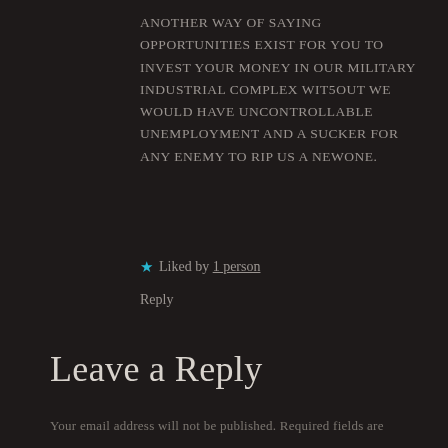ANOTHER WAY OF SAYING OPPORTUNITIES EXIST FOR YOU TO INVEST YOUR MONEY IN OUR MILITARY INDUSTRIAL COMPLEX WIT5OUT WE WOULD HAVE UNCONTROLLABLE UNEMPLOYMENT AND A SUCKER FOR ANY ENEMY TO RIP US A NEWONE.
★ Liked by 1 person
Reply
Leave a Reply
Your email address will not be published. Required fields are